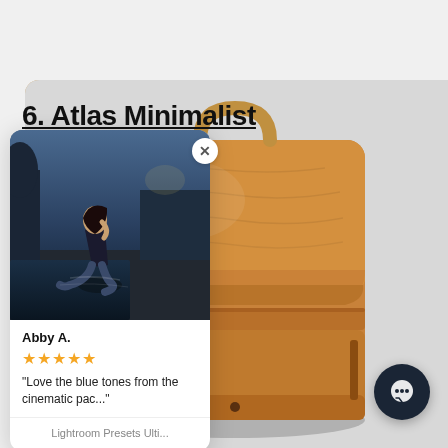6. Atlas Minimalist
[Figure (photo): Woman sitting outdoors near water at dusk/night, dark blue tones, blue jeans and dark top]
Abby A.
★★★★★
"Love the blue tones from the cinematic pac..."
Lightroom Presets Ulti...
[Figure (photo): Brown leather backpack (Atlas Minimalist) on light gray background, product photography]